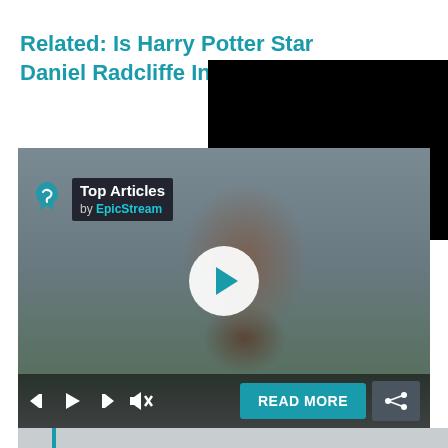Related: Is Harry Potter Star Daniel Radcliffe Infected by Co
[Figure (screenshot): Video player screenshot showing a bearded man, with Top Articles by EpicStream badge overlay, a play button, media controls, READ MORE button, and a share button. A black rectangle overlays the upper-right portion of the video.]